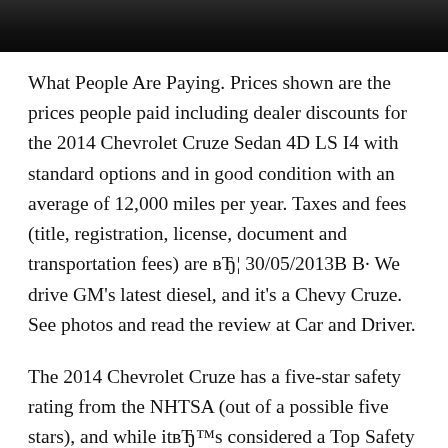[Figure (photo): Dark photograph strip showing interior or exterior of a vehicle, cropped at top of page]
What People Are Paying. Prices shown are the prices people paid including dealer discounts for the 2014 Chevrolet Cruze Sedan 4D LS I4 with standard options and in good condition with an average of 12,000 miles per year. Taxes and fees (title, registration, license, document and transportation fees) are вЂ¦ 30/05/2013В В· We drive GM's latest diesel, and it's a Chevy Cruze. See photos and read the review at Car and Driver.
The 2014 Chevrolet Cruze has a five-star safety rating from the NHTSA (out of a possible five stars), and while itвЂ™s considered a Top Safety